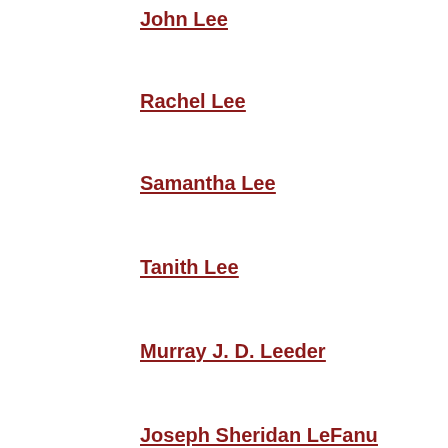John Lee
Rachel Lee
Samantha Lee
Tanith Lee
Murray J. D. Leeder
Joseph Sheridan LeFanu
Ursula K. LeGuin
Fritz Leiber
Justin Leiber
Stephen Leigh
Valery Leith
Alexander Leithes
Mary Lennox